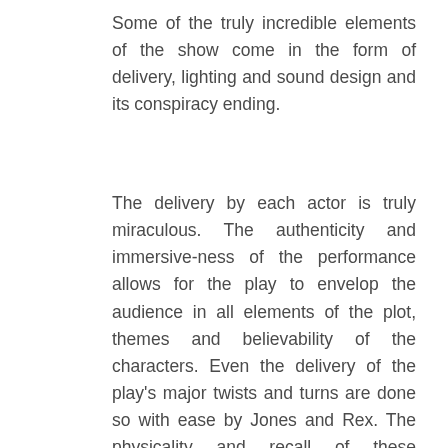Some of the truly incredible elements of the show come in the form of delivery, lighting and sound design and its conspiracy ending.
The delivery by each actor is truly miraculous. The authenticity and immersive-ness of the performance allows for the play to envelop the audience in all elements of the plot, themes and believability of the characters. Even the delivery of the play's major twists and turns are done so with ease by Jones and Rex. The physicality and recall of these extraordinary actors is unbelievable as well and is certainly commendable, admired and one of the most memorable attributes of the show.